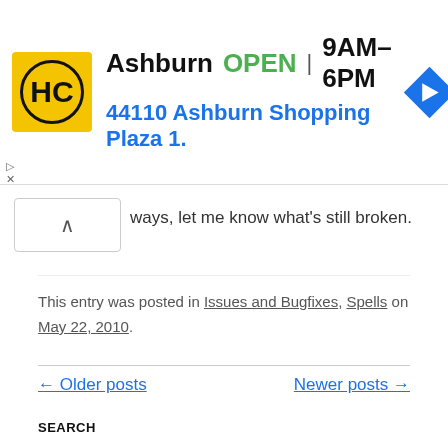[Figure (other): Advertisement banner for Hammerhead Cycles in Ashburn showing logo, OPEN status, hours 9AM-6PM, address 44110 Ashburn Shopping Plaza 1., and navigation icon]
ways, let me know what's still broken.
This entry was posted in Issues and Bugfixes, Spells on May 22, 2010.
← Older posts
Newer posts →
SEARCH